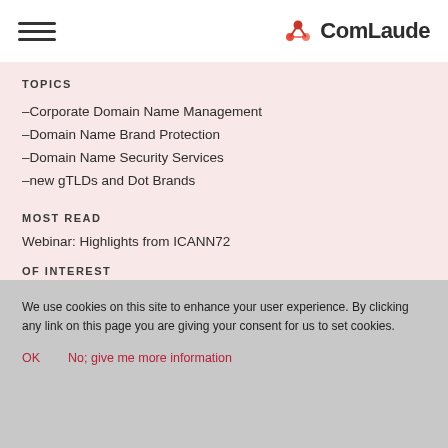[Figure (logo): ComLaude logo with red/pink molecule icon and dark text 'ComLaude']
TOPICS
–Corporate Domain Name Management
–Domain Name Brand Protection
–Domain Name Security Services
–new gTLDs and Dot Brands
MOST READ
Webinar: Highlights from ICANN72
OF INTEREST
We use cookies on this site to enhance your user experience. By clicking any link on this page you are giving your consent for us to set cookies.
OK    No; give me more information